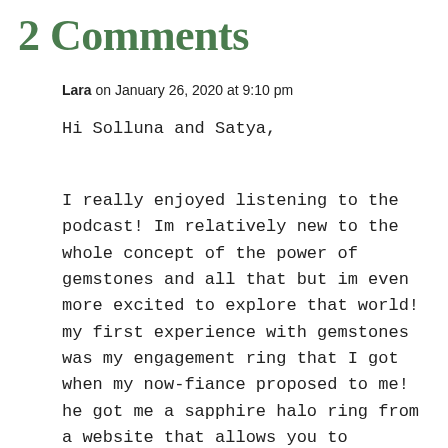2 Comments
Lara on January 26, 2020 at 9:10 pm
Hi Solluna and Satya,
I really enjoyed listening to the podcast! Im relatively new to the whole concept of the power of gemstones and all that but im even more excited to explore that world! my first experience with gemstones was my engagement ring that I got when my now-fiance proposed to me! he got me a sapphire halo ring from a website that allows you to customise your jewelry (its iconicjewelry.com btw)! I was very curious to know more about sapphires and their effect